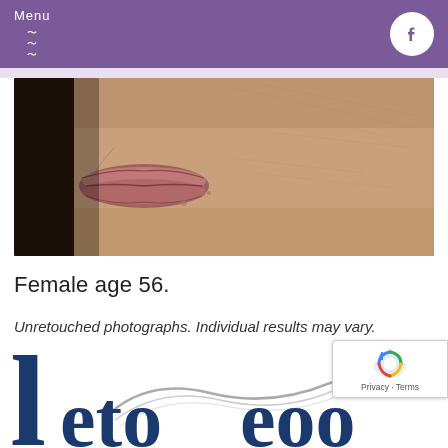Menu
[Figure (photo): Close-up photograph of the lower half of a female face, showing lips, chin, and surrounding skin with visible fine lines and texture. Dark background on the left side.]
Female age 56.
Unretouched photographs. Individual results may vary.
[Figure (logo): Partial view of a medical/cosmetic brand logo showing large dark blue serif letters and a gray wave/swirl design element, along with a reCAPTCHA widget and Privacy - Terms text.]